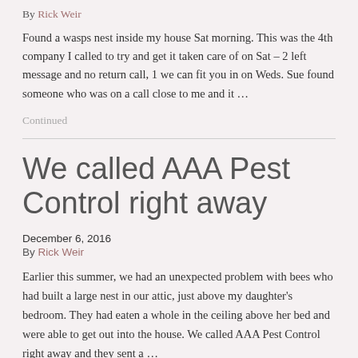By Rick Weir
Found a wasps nest inside my house Sat morning. This was the 4th company I called to try and get it taken care of on Sat – 2 left message and no return call, 1 we can fit you in on Weds. Sue found someone who was on a call close to me and it …
Continued
We called AAA Pest Control right away
December 6, 2016
By Rick Weir
Earlier this summer, we had an unexpected problem with bees who had built a large nest in our attic, just above my daughter's bedroom. They had eaten a whole in the ceiling above her bed and were able to get out into the house. We called AAA Pest Control right away and they sent a …